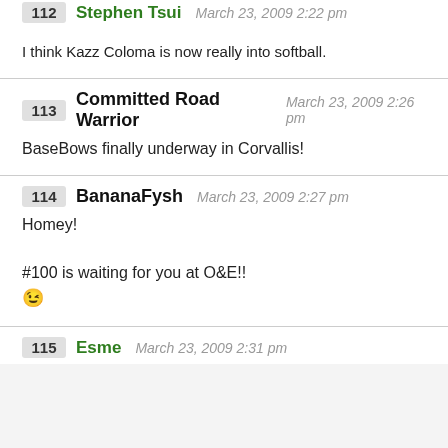112 Stephen Tsui March 23, 2009 2:22 pm
I think Kazz Coloma is now really into softball.
113 Committed Road Warrior March 23, 2009 2:26 pm
BaseBows finally underway in Corvallis!
114 BananaFysh March 23, 2009 2:27 pm
Homey!
#100 is waiting for you at O&E!!
😉
115 Esme March 23, 2009 2:31 pm